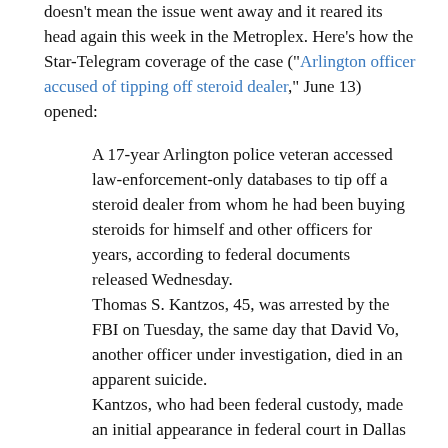doesn't mean the issue went away and it reared its head again this week in the Metroplex. Here's how the Star-Telegram coverage of the case ("Arlington officer accused of tipping off steroid dealer," June 13) opened:
A 17-year Arlington police veteran accessed law-enforcement-only databases to tip off a steroid dealer from whom he had been buying steroids for himself and other officers for years, according to federal documents released Wednesday.
Thomas S. Kantzos, 45, was arrested by the FBI on Tuesday, the same day that David Vo, another officer under investigation, died in an apparent suicide.
Kantzos, who had been federal custody, made an initial appearance in federal court in Dallas on Wednesday afternoon before U.S. Magistrate Paul D. Stickney.
He was ordered released on pretrial supervision with certain conditions...